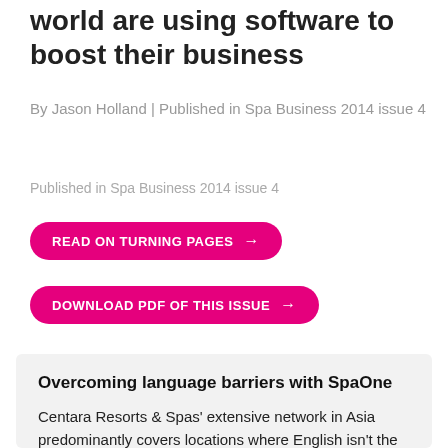world are using software to boost their business
By Jason Holland | Published in Spa Business 2014 issue 4
Published in Spa Business 2014 issue 4
READ ON TURNING PAGES →
DOWNLOAD PDF OF THIS ISSUE →
Overcoming language barriers with SpaOne
Centara Resorts & Spas' extensive network in Asia predominantly covers locations where English isn't the first language and the computer literacy of